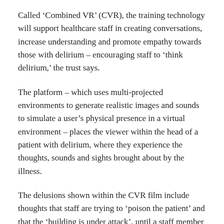Called 'Combined VR' (CVR), the training technology will support healthcare staff in creating conversations, increase understanding and promote empathy towards those with delirium – encouraging staff to 'think delirium,' the trust says.
The platform – which uses multi-projected environments to generate realistic images and sounds to simulate a user's physical presence in a virtual environment – places the viewer within the head of a patient with delirium, where they experience the thoughts, sounds and sights brought about by the illness.
The delusions shown within the CVR film include thoughts that staff are trying to 'poison the patient' and that the 'building is under attack', until a staff member recognises the symptoms and comes to assist the patient in distress.